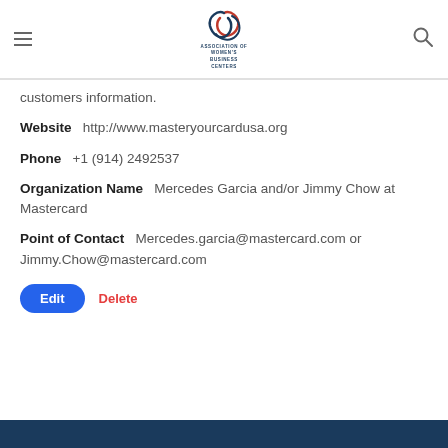Association of Women's Business Centers
customers information.
Website   http://www.masteryourcardusa.org
Phone   +1 (914) 2492537
Organization Name   Mercedes Garcia and/or Jimmy Chow at Mastercard
Point of Contact   Mercedes.garcia@mastercard.com or Jimmy.Chow@mastercard.com
Edit   Delete